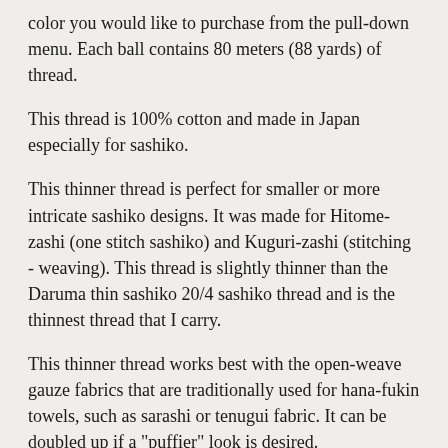color you would like to purchase from the pull-down menu. Each ball contains 80 meters (88 yards) of thread.
This thread is 100% cotton and made in Japan especially for sashiko.
This thinner thread is perfect for smaller or more intricate sashiko designs. It was made for Hitome-zashi (one stitch sashiko) and Kuguri-zashi (stitching - weaving). This thread is slightly thinner than the Daruma thin sashiko 20/4 sashiko thread and is the thinnest thread that I carry.
This thinner thread works best with the open-weave gauze fabrics that are traditionally used for hana-fukin towels, such as sarashi or tenugui fabric. It can be doubled up if a "puffier" look is desired.